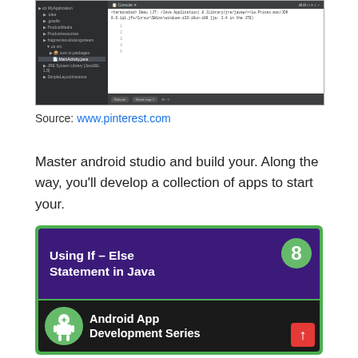[Figure (screenshot): IDE/Android Studio screenshot showing project file tree on the left and console output on the right]
Source: www.pinterest.com
Master android studio and build your. Along the way, you'll develop a collection of apps to start your.
[Figure (screenshot): Tutorial card showing 'Using If - Else Statement in Java' with number 8 badge, and 'Android App Development Series' with Android logo and red up-arrow button, on green background]